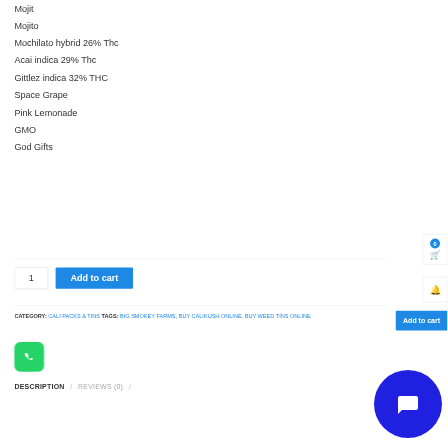Mojit
Mojito
Mochilato hybrid 26% Thc
Acai indica 29% Thc
Gittlez indica 32% THC
Space Grape
Pink Lemonade
GMO
God Gifts
CATEGORY: CALI PACKS & TINS  TAGS: BIG SMOKEY FARMS, BUY CALIKUSH ONLINE, BUY WEED TINS ONLINE
DESCRIPTION / REVIEWS (0) /